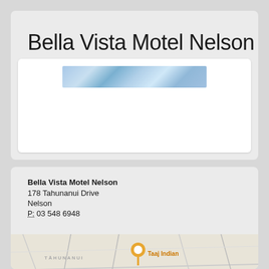Bella Vista Motel Nelson
[Figure (photo): Horizontal banner photo of the Bella Vista Motel Nelson, showing a sky/cloud scene in blue tones]
Bella Vista Motel Nelson
178 Tahunanui Drive
Nelson
P: 03 548 6948
[Figure (map): Map showing Tahunanui area with a pin marker near Taaj Indian restaurant]